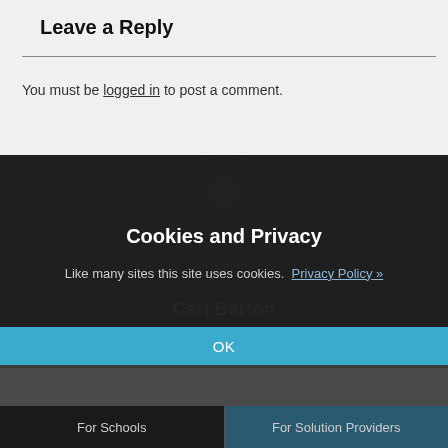Leave a Reply
You must be logged in to post a comment.
[Figure (photo): Circular author photo showing a person in a blue jacket with arms outstretched]
The author
Carl Barton
Cookies and Privacy
Like many sites this site uses cookies. Privacy Policy »
OK
For Schools   For Solution Providers